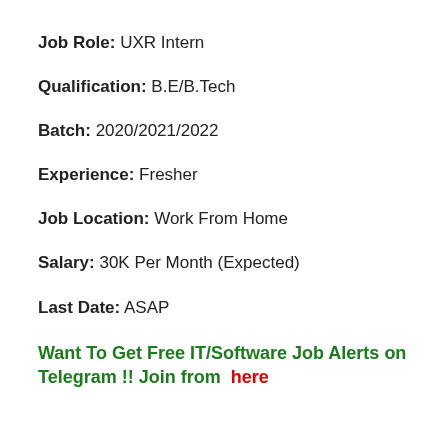Job Role: UXR Intern
Qualification: B.E/B.Tech
Batch: 2020/2021/2022
Experience: Fresher
Job Location: Work From Home
Salary: 30K Per Month (Expected)
Last Date: ASAP
Want To Get Free IT/Software Job Alerts on Telegram !! Join from here